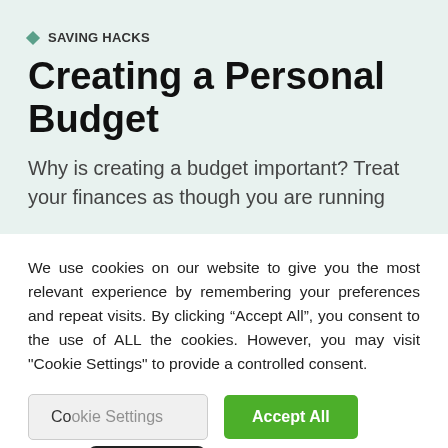Saving Hacks
Creating a Personal Budget
Why is creating a budget important? Treat your finances as though you are running
We use cookies on our website to give you the most relevant experience by remembering your preferences and repeat visits. By clicking “Accept All”, you consent to the use of ALL the cookies. However, you may visit "Cookie Settings" to provide a controlled consent.
Cookie Settings | Accept All | English